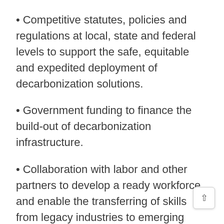Competitive statutes, policies and regulations at local, state and federal levels to support the safe, equitable and expedited deployment of decarbonization solutions.
Government funding to finance the build-out of decarbonization infrastructure.
Collaboration with labor and other partners to develop a ready workforce and enable the transferring of skills from legacy industries to emerging opportunities.
An interdependent network of infrastructure across multiple technologies including hydrogen facilities, CO2 pipelines, electric vehicle charging stations, solar…